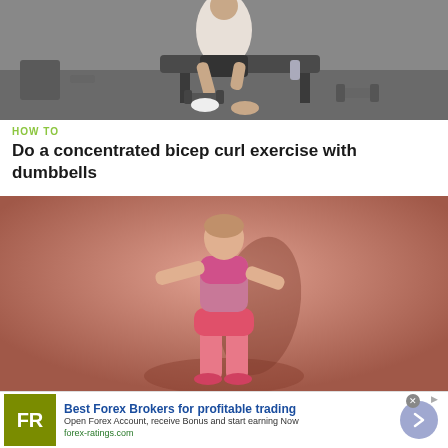[Figure (photo): Man doing concentrated bicep curl exercise with dumbbells in a gym setting, sitting on a bench leaning forward]
HOW TO
Do a concentrated bicep curl exercise with dumbbells
[Figure (photo): Fit woman in pink sports bra and shorts posing/dancing against a pinkish-orange background]
[Figure (infographic): Advertisement: Best Forex Brokers for profitable trading. Open Forex Account, receive Bonus and start earning Now. forex-ratings.com. FR logo in olive/green square. Blue arrow button on right.]